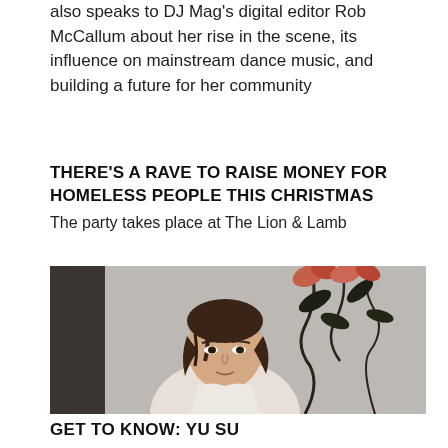also speaks to DJ Mag's digital editor Rob McCallum about her rise in the scene, its influence on mainstream dance music, and building a future for her community
THERE'S A RAVE TO RAISE MONEY FOR HOMELESS PEOPLE THIS CHRISTMAS
The party takes place at The Lion & Lamb
[Figure (photo): Portrait photograph of a young Asian woman with dark hair wearing a white shirt, seated in front of a wall with pink/red lily flowers in the background]
GET TO KNOW: YU SU